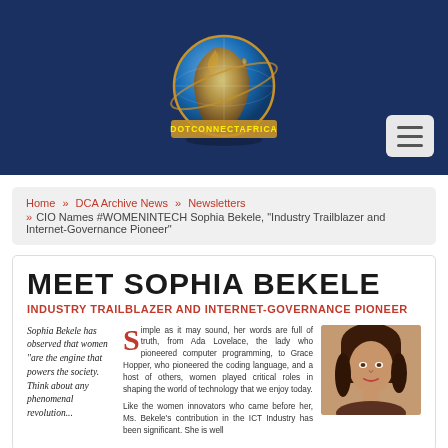[Figure (logo): DotConnectAfrica globe logo with text DOTCONNECTAFRICA in yellow on blue banner background]
Home » DCA Archive News » Newsletters » CIO Names #WOMENINTECH Sophia Bekele, "Industry Trailblazer and Internet-Governance Pioneer"
MEET SOPHIA BEKELE
INDUSTRY TRAILBLAZER AND INTERNET-GOVERNANCE PIONEER
Sophia Bekele has observed that women "are the engine that powers the society. Think about any phenomenal revolution..."
Simple as it may sound, her words are full of truth, from Ada Lovelace, the lady who pioneered computer programming, to Grace Hopper, who pioneered the coding language, and a host of others, women played critical roles in shaping the world of technology that we enjoy today.
Like the women innovators who came before her, Ms. Bekele's contribution in the ICT Industry has been significant. She is well
[Figure (photo): Photo of Sophia Bekele, a woman with long dark hair]